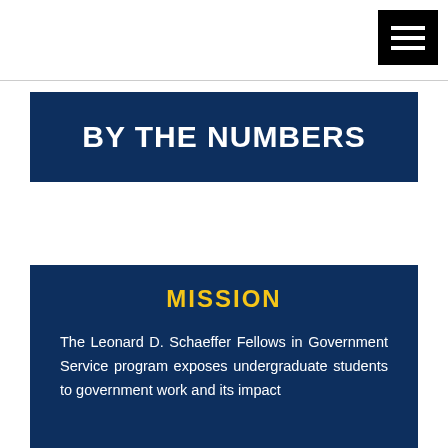[Figure (other): Hamburger menu icon — three white horizontal lines on a black square background, positioned top-right of the page]
BY THE NUMBERS
MISSION
The Leonard D. Schaeffer Fellows in Government Service program exposes undergraduate students to government work and its impact